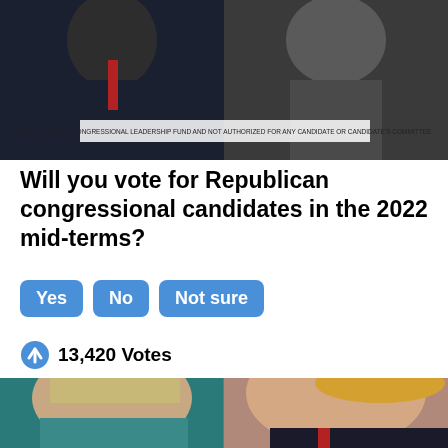[Figure (photo): Top banner image showing two political figures side by side, with a disclaimer text overlay: PAID FOR BY THE CONGRESSIONAL LEADERSHIP FUND AND NOT AUTHORIZED FOR ANY CANDIDATE OR CANDIDATE'S COMMITTEE.]
Will you vote for Republican congressional candidates in the 2022 mid-terms?
Yes
No
Not sure
13,420 Votes
[Figure (photo): Bottom image showing side-by-side close-up photos of Hillary Clinton (left, facing right, wearing teal) and Donald Trump (right, in profile facing left, wearing suit with red tie).]